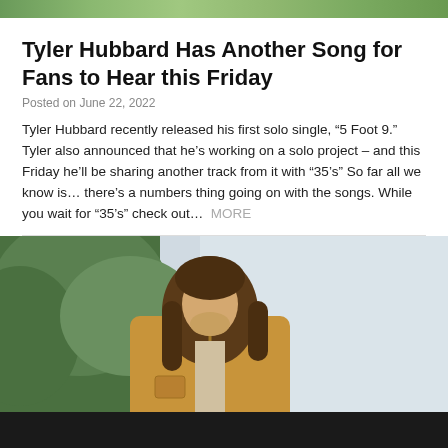[Figure (photo): Top banner strip showing partial image - greenery/foliage]
Tyler Hubbard Has Another Song for Fans to Hear this Friday
Posted on June 22, 2022
Tyler Hubbard recently released his first solo single, “5 Foot 9.” Tyler also announced that he’s working on a solo project – and this Friday he’ll be sharing another track from it with “35’s” So far all we know is… there’s a numbers thing going on with the songs. While you wait for “35’s” check out…  MORE
[Figure (photo): Photo of Tyler Hubbard, a man with long brown hair wearing a tan/khaki jacket, looking downward, with greenery and sky in the background]